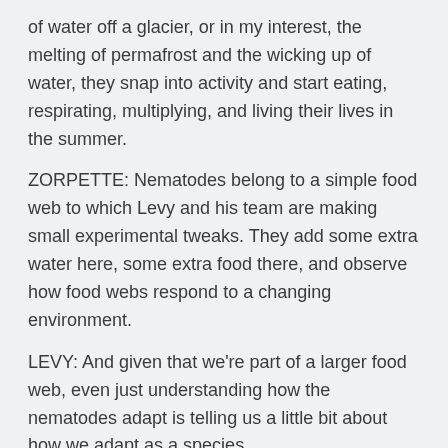of water off a glacier, or in my interest, the melting of permafrost and the wicking up of water, they snap into activity and start eating, respirating, multiplying, and living their lives in the summer.
ZORPETTE: Nematodes belong to a simple food web to which Levy and his team are making small experimental tweaks. They add some extra water here, some extra food there, and observe how food webs respond to a changing environment.
LEVY: And given that we're part of a larger food web, even just understanding how the nematodes adapt is telling us a little bit about how we adapt as a species.
ZORPETTE:
[Figure (photo): Small broken image placeholder icon]
Very few critters other than
The mummified bodies of long-dead leopard seals are scattered around the